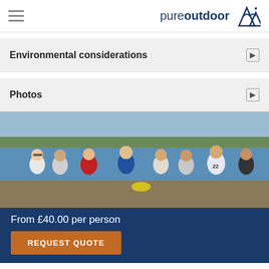pureoutdoor
Environmental considerations
Photos
[Figure (photo): Group of eight men standing together in front of a lake or river, on a sunny day. Trees visible in background. Men wearing casual clothes including t-shirts and one wearing a jersey numbered 22.]
From £40.00 per person
REQUEST QUOTE